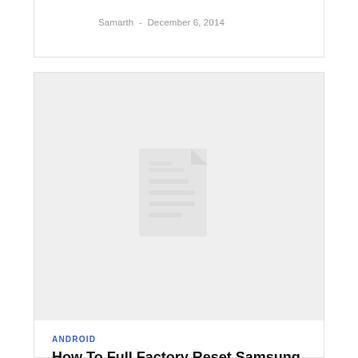Samarth  -  December 6, 2014
[Figure (illustration): Placeholder document icon on a light grey background]
ANDROID
How To Full Factory Reset Samsung